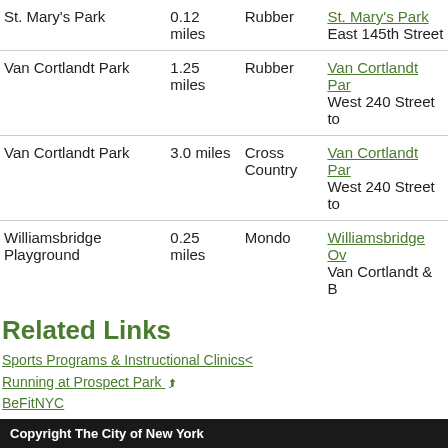| Park | Distance | Surface | Link |
| --- | --- | --- | --- |
| St. Mary's Park | 0.12 miles | Rubber | St. Mary's Park
East 145th Street |
| Van Cortlandt Park | 1.25 miles | Rubber | Van Cortlandt Par...
West 240 Street to |
| Van Cortlandt Park | 3.0 miles | Cross Country | Van Cortlandt Par...
West 240 Street to |
| Williamsbridge Playground | 0.25 miles | Mondo | Williamsbridge Ov...
Van Cortlandt & B |
Related Links
Sports Programs & Instructional Clinics<
Running at Prospect Park ↗
BeFitNYC
Watch an It's My Park segment about the City Parks Foundation tra
History: New York City Marathon
Was this information helpful? Yes No
Copyright The City of New York